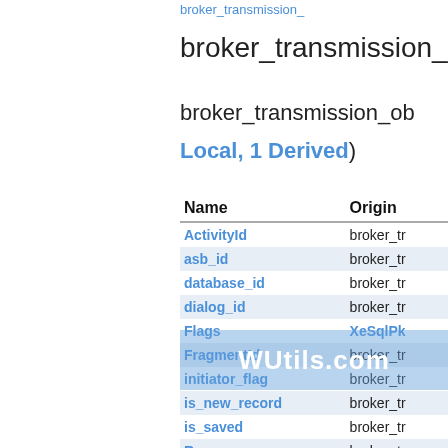broker_transmission_
broker_transmission_ob
Local, 1 Derived)
| Name | Origin |
| --- | --- |
| ActivityId | broker_tr |
| asb_id | broker_tr |
| database_id | broker_tr |
| dialog_id | broker_tr |
| Flags | XeSqlPk |
| FragmentId | broker_tr |
| initiator_flag | broker_tr |
| is_new_record | broker_tr |
| is_saved | broker_tr |
| R… | broker_t |
| S…SequenceNumber | broker_t |
[Figure (other): WUtils.com watermark overlay on table]